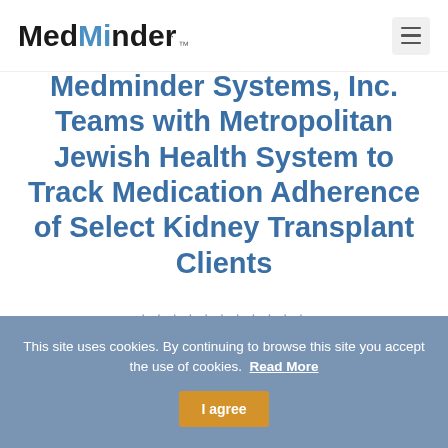MedMinder™
Medminder Systems, Inc. Teams with Metropolitan Jewish Health System to Track Medication Adherence of Select Kidney Transplant Clients
This site uses cookies. By continuing to browse this site you accept the use of cookies. Read More  I agree